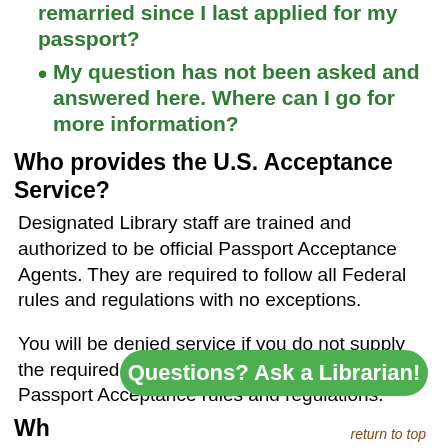remarried since I last applied for my passport?
My question has not been asked and answered here. Where can I go for more information?
Who provides the U.S. Acceptance Service?
Designated Library staff are trained and authorized to be official Passport Acceptance Agents. They are required to follow all Federal rules and regulations with no exceptions.
You will be denied service if you do not supply the required documentation or adhere to U.S. Passport Acceptance rules and regulations.
return to top
Questions? Ask a Librarian!
Wha